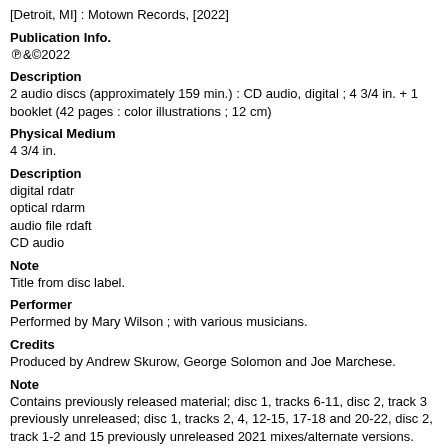[Detroit, MI] : Motown Records, [2022]
Publication Info.
℗&©2022
Description
2 audio discs (approximately 159 min.) : CD audio, digital ; 4 3/4 in. + 1 booklet (42 pages : color illustrations ; 12 cm)
Physical Medium
4 3/4 in.
Description
digital rdatr
optical rdarm
audio file rdaft
CD audio
Note
Title from disc label.
Performer
Performed by Mary Wilson ; with various musicians.
Credits
Produced by Andrew Skurow, George Solomon and Joe Marchese.
Note
Contains previously released material; disc 1, tracks 6-11, disc 2, track 3 previously unreleased; disc 1, tracks 2, 4, 12-15, 17-18 and 20-22, disc 2, track 1-2 and 15 previously unreleased 2021 mixes/alternate versions.
Summary
"The Motown Anthology is a 2 CD collection of Mary's leads for the Supremes and their original group the Primettes, the CD debut of her 1979 solo album on Motown, plus a total of 7 unreleased tracks and 13 unreleased mixes or alternate takes. Inside is a 36-page booklet featuring rare photos, an extensive essay detailing her career, and testimonials from her peers - among them Sir Paul